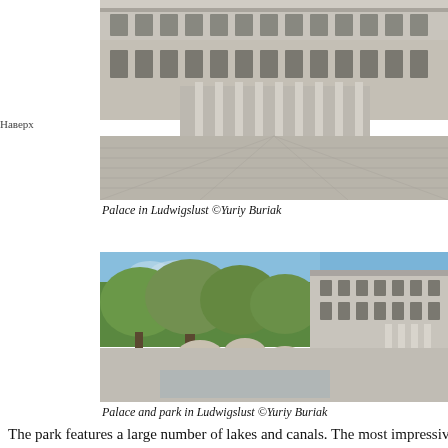[Figure (photo): Photograph of the facade of the Palace in Ludwigslust, showing neoclassical architecture with columns and a wide cobblestone courtyard]
Palace in Ludwigslust ©Yuriy Buriak
[Figure (photo): Photograph of Palace and park in Ludwigslust showing baroque sculptures in a fountain in the foreground, large trees and the palace facade in the background]
Palace and park in Ludwigslust ©Yuriy Buriak
The park features a large number of lakes and canals. The most impressive is a
[Figure (photo): Partial photograph showing blue sky with clouds, bottom of page]